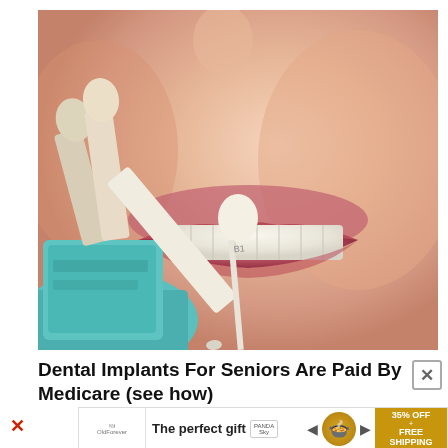[Figure (photo): Close-up photo of a woman smiling showing white teeth, with a dental implant shade guide being held up against her teeth by a gloved hand. Several tooth-colored shade tabs on a teal/turquoise holder are visible.]
Dental Implants For Seniors Are Paid By Medicare (see how)
[Figure (other): Advertisement banner: 'The perfect gift' with product images, navigation arrows, a bowl of food, and a gold promotional box showing '35% OFF + FREE SHIPPING']